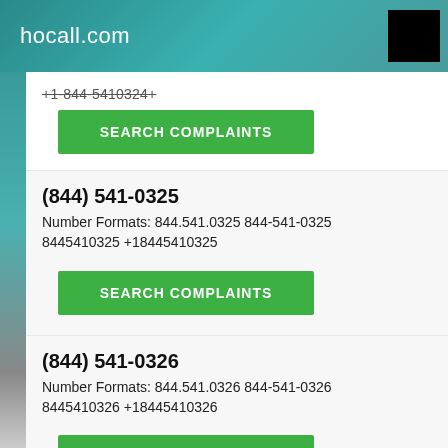hocall.com
(truncated phone number and search complaints button at top)
(844) 541-0325
Number Formats: 844.541.0325 844-541-0325 8445410325 +18445410325
SEARCH COMPLAINTS
(844) 541-0326
Number Formats: 844.541.0326 844-541-0326 8445410326 +18445410326
SEARCH COMPLAINTS
(844) 541-0327
Number Formats: 844.541.0327 844-541-0327 8445410327 +18445410327